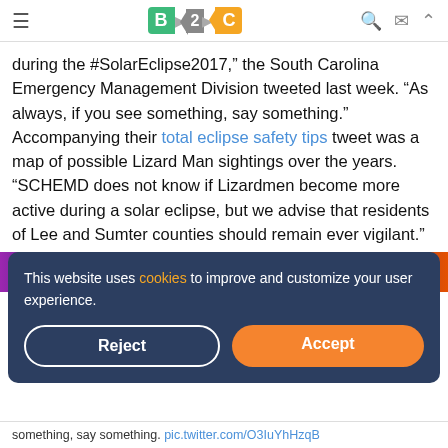B2C (logo navigation bar)
during the #SolarEclipse2017," the South Carolina Emergency Management Division tweeted last week. "As always, if you see something, say something." Accompanying their total eclipse safety tips tweet was a map of possible Lizard Man sightings over the years. "SCHEMD does not know if Lizardmen become more active during a solar eclipse, but we advise that residents of Lee and Sumter counties should remain ever vigilant."
[Figure (screenshot): Advertisement banner strip showing a colorful casino-style ad for BC GAME with text THE BEST]
This website uses cookies to improve and customize your user experience.
Reject
Accept
something, say something. pic.twitter.com/O3IuYhHzqB